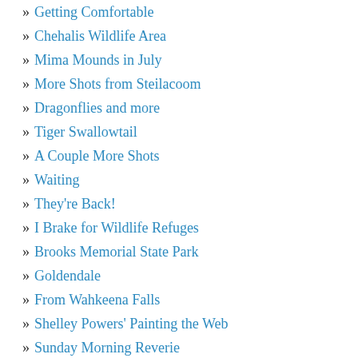» Getting Comfortable
» Chehalis Wildlife Area
» Mima Mounds in July
» More Shots from Steilacoom
» Dragonflies and more
» Tiger Swallowtail
» A Couple More Shots
» Waiting
» They're Back!
» I Brake for Wildlife Refuges
» Brooks Memorial State Park
» Goldendale
» From Wahkeena Falls
» Shelley Powers' Painting the Web
» Sunday Morning Reverie
» Silver Lining
» Green567